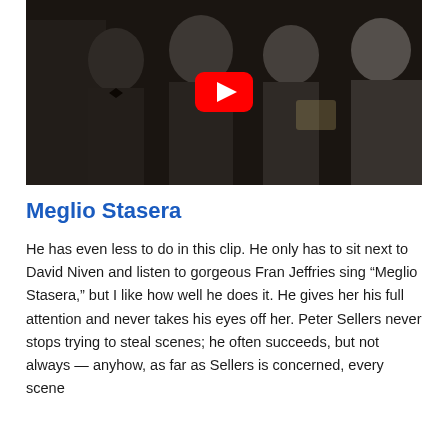[Figure (screenshot): A YouTube video thumbnail showing several men in formal attire (tuxedos) at an event, with a large red YouTube play button overlay in the center.]
Meglio Stasera
He has even less to do in this clip. He only has to sit next to David Niven and listen to gorgeous Fran Jeffries sing “Meglio Stasera,” but I like how well he does it. He gives her his full attention and never takes his eyes off her. Peter Sellers never stops trying to steal scenes; he often succeeds, but not always — anyhow, as far as Sellers is concerned, every scene is his in the making. We are in content at the f…